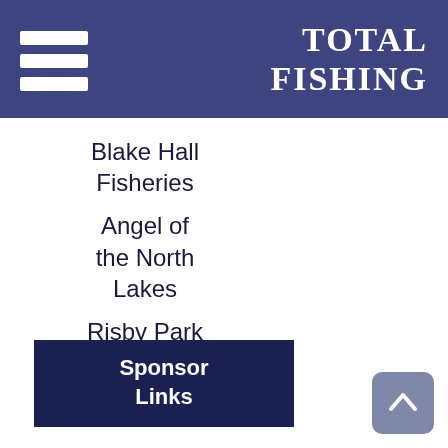TOTAL FISHING
Blake Hall Fisheries
Angel of the North Lakes
Risby Park Fisheries
Sponsor Links
https://www.thelocaltreeexperts.